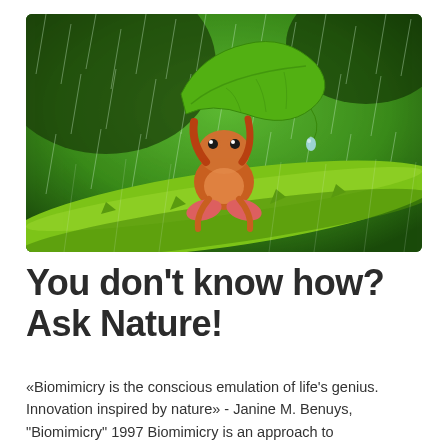[Figure (photo): A small orange/red frog sitting on a green plant stem in the rain, holding up a green leaf as an umbrella. The background is a vibrant blurred green with rain streaks visible.]
You don't know how? Ask Nature!
«Biomimicry is the conscious emulation of life's genius. Innovation inspired by nature» - Janine M. Benuys, "Biomimicry" 1997 Biomimicry is an approach to